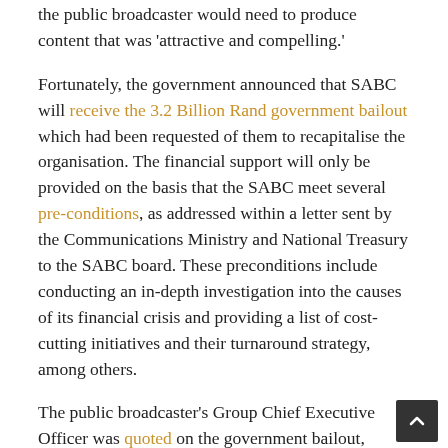the public broadcaster would need to produce content that was 'attractive and compelling.'
Fortunately, the government announced that SABC will receive the 3.2 Billion Rand government bailout which had been requested of them to recapitalise the organisation. The financial support will only be provided on the basis that the SABC meet several pre-conditions, as addressed within a letter sent by the Communications Ministry and National Treasury to the SABC board. These preconditions include conducting an in-depth investigation into the causes of its financial crisis and providing a list of cost-cutting initiatives and their turnaround strategy, among others.
The public broadcaster's Group Chief Executive Officer was quoted on the government bailout,